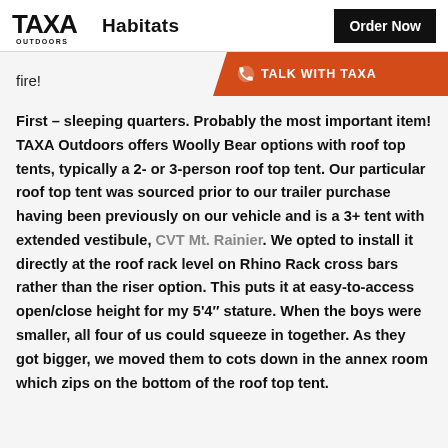TAXA Outdoors  Habitats  |  Order Now
fire!
TALK WITH TAXA
First – sleeping quarters. Probably the most important item! TAXA Outdoors offers Woolly Bear options with roof top tents, typically a 2- or 3-person roof top tent. Our particular roof top tent was sourced prior to our trailer purchase having been previously on our vehicle and is a 3+ tent with extended vestibule, CVT Mt. Rainier. We opted to install it directly at the roof rack level on Rhino Rack cross bars rather than the riser option. This puts it at easy-to-access open/close height for my 5'4" stature. When the boys were smaller, all four of us could squeeze in together. As they got bigger, we moved them to cots down in the annex room which zips on the bottom of the roof top tent.